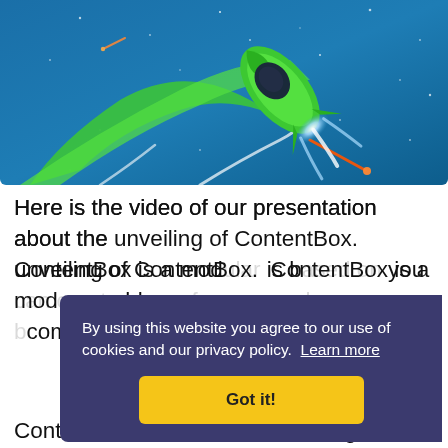[Figure (illustration): Green rocket ship flying upward through a starry blue sky, with a bright engine glow and comet trails in background]
Here is the video of our presentation about the unveiling of ContentBox.  ContentBox is a mod[ular...] is b[ased on...] you [can create...] blog[s, for]ums, and m[ore...] b[eing] completely modu[lar and] extensi[ble,] ContentBox is a matter of knowing about
By using this website you agree to our use of cookies and our privacy policy.  Learn more
Got it!